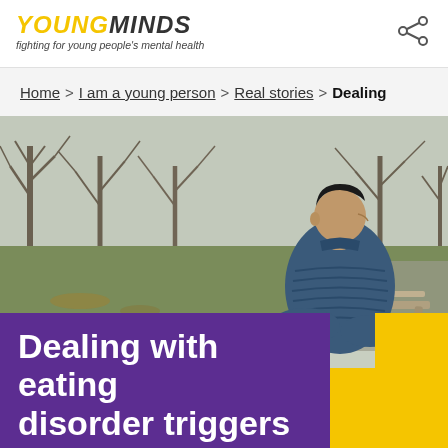YOUNGMINDS - fighting for young people's mental health
Home > I am a young person > Real stories > Dealing
[Figure (photo): Young man in a blue puffer jacket sitting on a bench in a park on a grey overcast day, looking away from camera. Bare trees and green grass visible in background.]
Dealing with eating disorder triggers